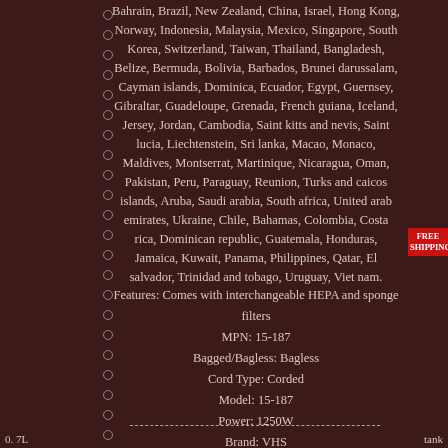Bahrain, Brazil, New Zealand, China, Israel, Hong Kong, Norway, Indonesia, Malaysia, Mexico, Singapore, South Korea, Switzerland, Taiwan, Thailand, Bangladesh, Belize, Bermuda, Bolivia, Barbados, Brunei darussalam, Cayman islands, Dominica, Ecuador, Egypt, Guernsey, Gibraltar, Guadeloupe, Grenada, French guiana, Iceland, Jersey, Jordan, Cambodia, Saint kitts and nevis, Saint lucia, Liechtenstein, Sri lanka, Macao, Monaco, Maldives, Montserrat, Martinique, Nicaragua, Oman, Pakistan, Peru, Paraguay, Reunion, Turks and caicos islands, Aruba, Saudi arabia, South africa, United arab emirates, Ukraine, Chile, Bahamas, Colombia, Costa rica, Dominican republic, Guatemala, Honduras, Jamaica, Kuwait, Panama, Philippines, Qatar, El salvador, Trinidad and tobago, Uruguay, Viet nam.
Features: Comes with interchangeable HEPA and sponge filters
MPN: 15-187
Bagged/Bagless: Bagless
Cord Type: Corded
Model: 15-187
Power: 1250W
Brand: VHS
Filters: HEPA
Capacity: 30L
Type: Wet/Dry